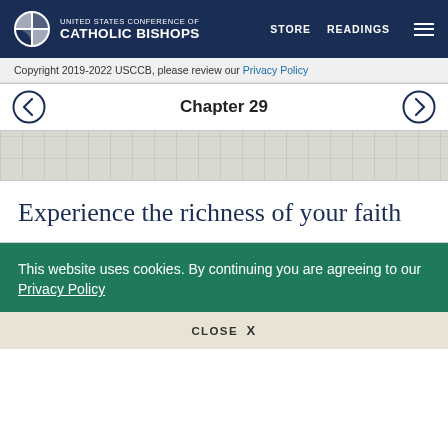UNITED STATES CONFERENCE OF CATHOLIC BISHOPS | STORE | READINGS
Copyright 2019-2022 USCCB, please review our Privacy Policy
Chapter 29
[Figure (illustration): Decorative banner background with faint grid pattern]
Experience the richness of your faith
This website uses cookies. By continuing you are agreeing to our Privacy Policy
CLOSE X